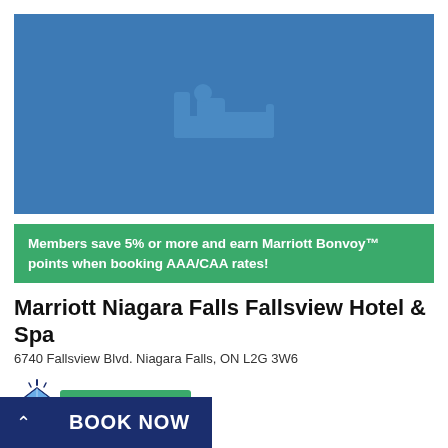[Figure (illustration): Blue hotel room placeholder image with a bed icon in the center]
Members save 5% or more and earn Marriott Bonvoy™ points when booking AAA/CAA rates!
Marriott Niagara Falls Fallsview Hotel & Spa
6740 Fallsview Blvd. Niagara Falls, ON L2G 3W6
[Figure (logo): Three Diamond badge with diamond gem icon and green THREE DIAMOND label]
BOOK NOW